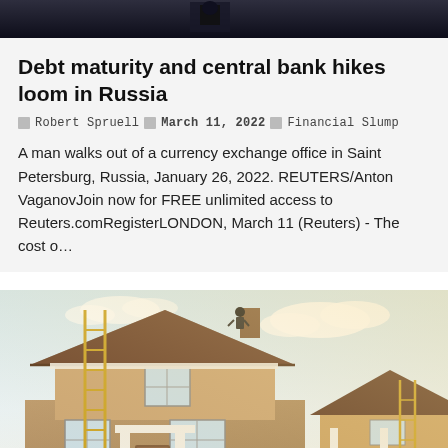[Figure (photo): Dark header image, appears to show a shadowy figure in a window or corridor]
Debt maturity and central bank hikes loom in Russia
Robert Spruell  March 11, 2022  Financial Slump
A man walks out of a currency exchange office in Saint Petersburg, Russia, January 26, 2022. REUTERS/Anton VaganovJoin now for FREE unlimited access to Reuters.comRegisterLONDON, March 11 (Reuters) - The cost o…
[Figure (photo): A two-story house under construction or repair with scaffolding ladders against the side, workers on roof, suburban home exterior]